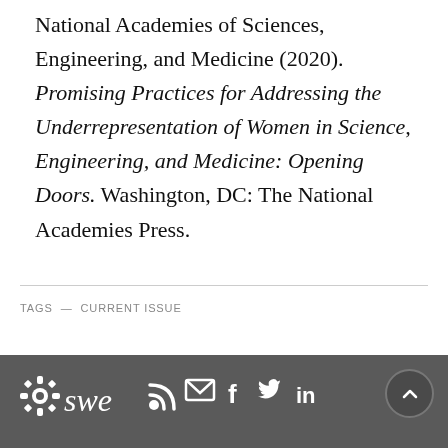National Academies of Sciences, Engineering, and Medicine (2020). Promising Practices for Addressing the Underrepresentation of Women in Science, Engineering, and Medicine: Opening Doors. Washington, DC: The National Academies Press.
TAGS — CURRENT ISSUE
[Figure (logo): SWE logo (gear/flower icon followed by 'swe' text in white) with social media icons (RSS, email, Facebook, Twitter, LinkedIn) on dark gray footer bar, plus a scroll-to-top circular button on the right]